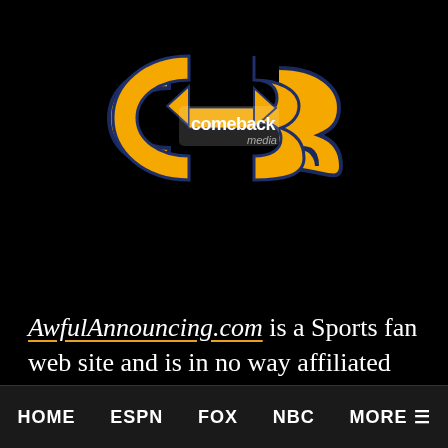[Figure (logo): Comeback Media logo — gold/orange stylized 'cb' letters with arrows forming a chain link shape, white text 'comeback' and grey 'media' inside, dark navy border outline, on black background]
AwfulAnnouncing.com is a Sports fan web site and is in no way affiliated with any media organization, any professional sports league, team, organization, or its Properties. This site is for informational and entertainment
HOME   ESPN   FOX   NBC   MORE ≡